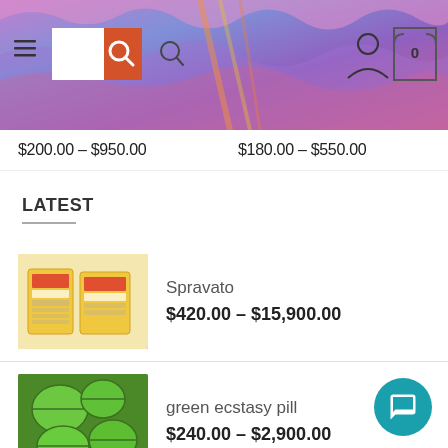[Figure (screenshot): Website header banner with psychedelic pink/blue/purple illustrated background, search box with orange icon, hamburger menu, plain search icon, person icon, and cart icon with 0]
$200.00 – $950.00
$180.00 – $550.00
LATEST
Spravato
$420.00 – $15,900.00
green ecstasy pill
$240.00 – $2,900.00
Blue vaders 220 mg Xtc Pills
$240.00 – $2,900.00